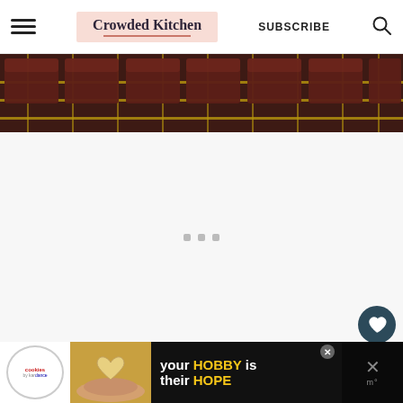Crowded Kitchen — SUBSCRIBE
[Figure (photo): Dark chocolate brownies on a gold cooling rack, viewed from above, dark chocolate background]
[Figure (other): Loading/advertisement placeholder area with three grey dots]
[Figure (other): Advertisement banner at bottom: cookies by kar dance logo, heart-shaped cookie held by hands, text 'your HOBBY is their HOPE']